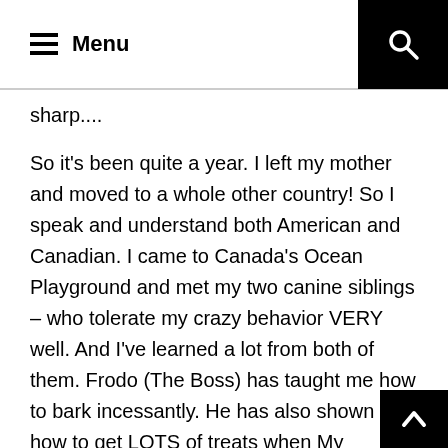≡ Menu
sharp....
So it's been quite a year. I left my mother and moved to a whole other country! So I speak and understand both American and Canadian. I came to Canada's Ocean Playground and met my two canine siblings – who tolerate my crazy behavior VERY well. And I've learned a lot from both of them. Frodo (The Boss) has taught me how to bark incessantly. He has also shown me how to get LOTS of treats when My Enforcer is trying to "train" me. Pretend you don't understand. You get more treats that way. Elroy (The Coyote) has shown me how to watch birds, and bunnies and blowing leaves. He's fun to play with and he's pretty tolerant of my biting. Although he does let me know when he's had enough. Even he has his limits.